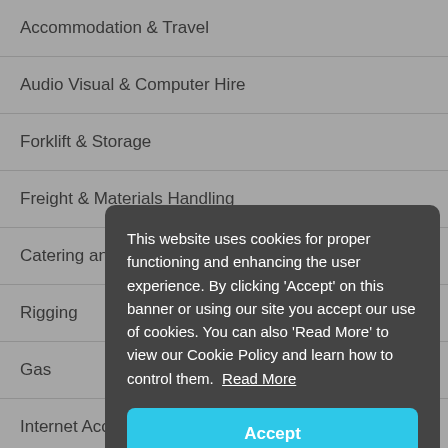Accommodation & Travel
Audio Visual & Computer Hire
Forklift & Storage
Freight & Materials Handling
Catering and Kiosk Account
Rigging
Gas
Internet Access
Furniture Hire
Indoor Plants
This website uses cookies for proper functioning and enhancing the user experience. By clicking ‘Accept’ on this banner or using our site you accept our use of cookies. You can also ‘Read More’ to view our Cookie Policy and learn how to control them. Read More